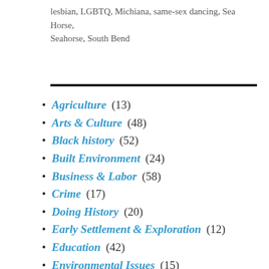lesbian, LGBTQ, Michiana, same-sex dancing, Sea Horse, Seahorse, South Bend
Agriculture (13)
Arts & Culture (48)
Black history (52)
Built Environment (24)
Business & Labor (58)
Crime (17)
Doing History (20)
Early Settlement & Exploration (12)
Education (42)
Environmental Issues (15)
Immigration (22)
Indigenous History (9)